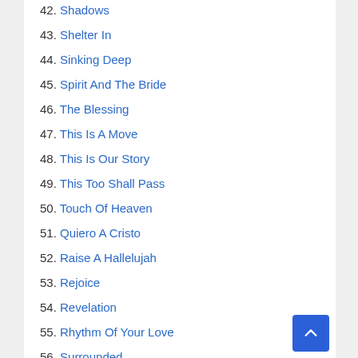42. Shadows
43. Shelter In
44. Sinking Deep
45. Spirit And The Bride
46. The Blessing
47. This Is A Move
48. This Is Our Story
49. This Too Shall Pass
50. Touch Of Heaven
51. Quiero A Cristo
52. Raise A Hallelujah
53. Rejoice
54. Revelation
55. Rhythm Of Your Love
56. Surrounded
57. Voice Of God
58. When Hope Was Born